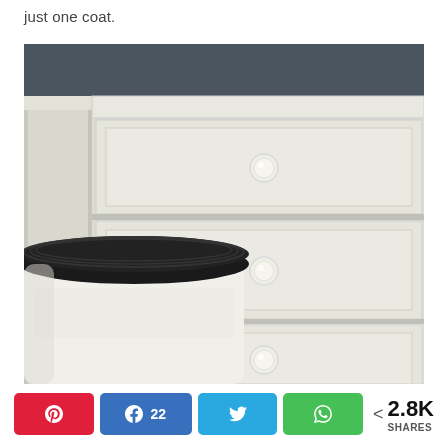just one coat.
[Figure (photo): Close-up photo of white painted dresser/cabinet drawers with decorative knobs, and a white plastic container with black lid in the foreground.]
Pinterest share button | Facebook share button with 22 | Twitter share button | WhatsApp share button | < 2.8K SHARES